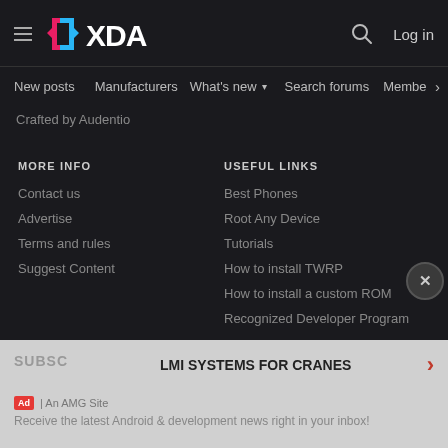XDA — hamburger menu, XDA logo, search icon, Log in
New posts  Manufacturers  What's new ▾  Search forums  Membe  >
Crafted by Audentio
MORE INFO
Contact us
Advertise
Terms and rules
Suggest Content
USEFUL LINKS
Best Phones
Root Any Device
Tutorials
How to install TWRP
How to install a custom ROM
Recognized Developer Program
SUBSC… LMI SYSTEMS FOR CRANES  Ad | An AMG Site  Receive the latest Android & development news right in your inbox!